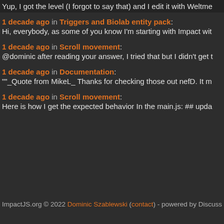Yup, I got the level (I forgot to say that) and I edit it with Weltme
1 decade ago in Triggers and Biolab entity pack: Hi, everybody, as some of you know I'm starting with Impact wit
1 decade ago in Scroll movement: @dominic after reading your answer, I tried that but I didn't get t
1 decade ago in Documentation: ""_Quote from MikeL_ Thanks for checking those out nefD. It m
1 decade ago in Scroll movement: Here is how I get the expected behavior In the main.js: ## upda
ImpactJS.org © 2022 Dominic Szablewski (contact) - powered by Discuss - RSS